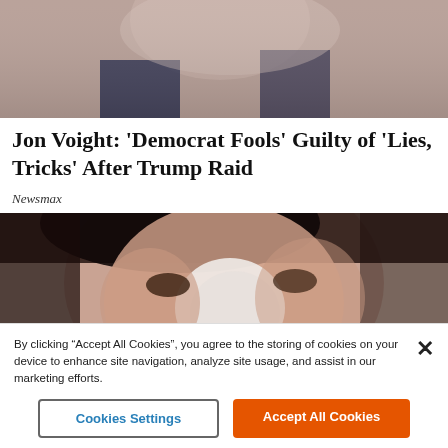[Figure (photo): Partial photo of a man in a dark suit, cropped at top of page]
Jon Voight: 'Democrat Fools' Guilty of 'Lies, Tricks' After Trump Raid
Newsmax
[Figure (photo): Close-up photo of a young Asian woman with a white cream/mask on her nose]
By clicking “Accept All Cookies”, you agree to the storing of cookies on your device to enhance site navigation, analyze site usage, and assist in our marketing efforts.